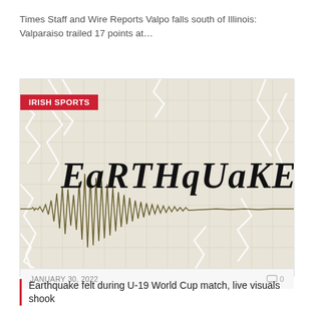Times Staff and Wire Reports Valpo falls south of Illinois: Valparaiso trailed 17 points at…
[Figure (illustration): Earthquake themed graphic: word 'EARTHQUAKE' in bold cracked letters over a seismic waveform on a cracked graph paper background. Red 'IRISH SPORTS' badge overlay in top left.]
JANUARY 30, 2022  💬 0
Earthquake felt during U-19 World Cup match, live visuals shook